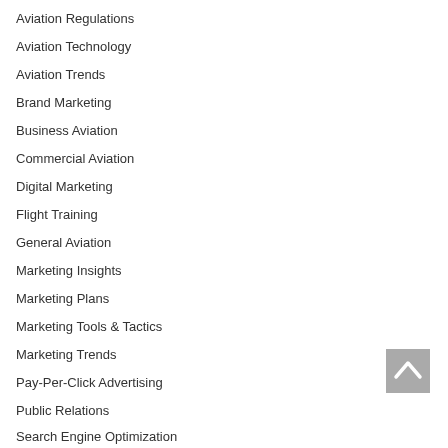Aviation Regulations
Aviation Technology
Aviation Trends
Brand Marketing
Business Aviation
Commercial Aviation
Digital Marketing
Flight Training
General Aviation
Marketing Insights
Marketing Plans
Marketing Tools & Tactics
Marketing Trends
Pay-Per-Click Advertising
Public Relations
Search Engine Optimization
[Figure (other): Back to top button with upward chevron arrow]